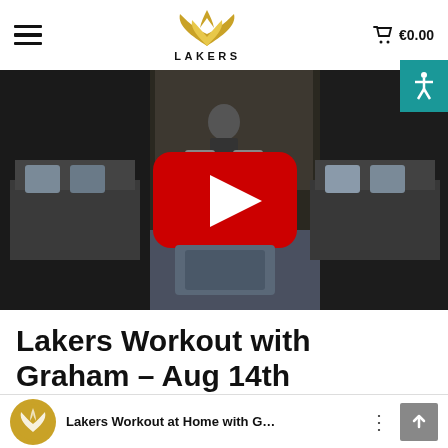Lakers — €0.00
[Figure (screenshot): YouTube video thumbnail showing a person standing in a living room with a red YouTube play button overlay in the center]
Lakers Workout with Graham – Aug 14th
Episode: 34
Released: 14 August, 2020 12:00 am
[Figure (screenshot): Bottom partial preview of another YouTube video embed showing Lakers logo and title 'Lakers Workout at Home with G...']